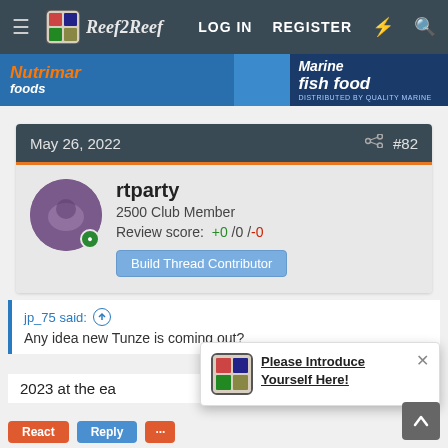ReefRuf navigation bar with LOG IN, REGISTER links
[Figure (photo): Advertisement banner for fish food products]
May 26, 2022   #82
rtparty
2500 Club Member
Review score: +0 /0 /-0
Build Thread Contributor
jp_75 said:
Any idea new Tunze is coming out?
2023 at the ea
Please Introduce Yourself Here!